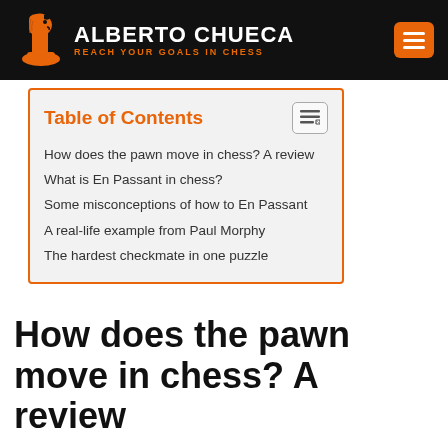ALBERTO CHUECA — REACH YOUR GOALS IN CHESS
Table of Contents
How does the pawn move in chess? A review
What is En Passant in chess?
Some misconceptions of how to En Passant
A real-life example from Paul Morphy
The hardest checkmate in one puzzle
How does the pawn move in chess? A review
In case you don't remember 100%, the pawn has